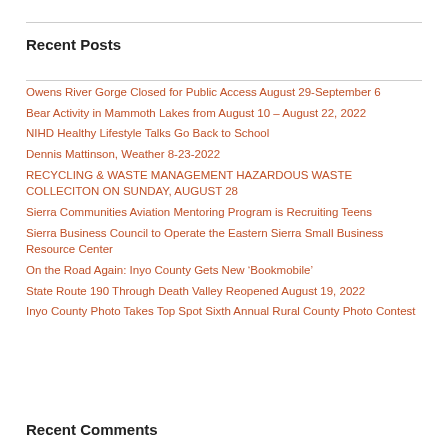Recent Posts
Owens River Gorge Closed for Public Access August 29-September 6
Bear Activity in Mammoth Lakes from August 10 – August 22, 2022
NIHD Healthy Lifestyle Talks Go Back to School
Dennis Mattinson, Weather 8-23-2022
RECYCLING & WASTE MANAGEMENT HAZARDOUS WASTE COLLECITON ON SUNDAY, AUGUST 28
Sierra Communities Aviation Mentoring Program is Recruiting Teens
Sierra Business Council to Operate the Eastern Sierra Small Business Resource Center
On the Road Again: Inyo County Gets New ‘Bookmobile’
State Route 190 Through Death Valley Reopened August 19, 2022
Inyo County Photo Takes Top Spot Sixth Annual Rural County Photo Contest
Recent Comments